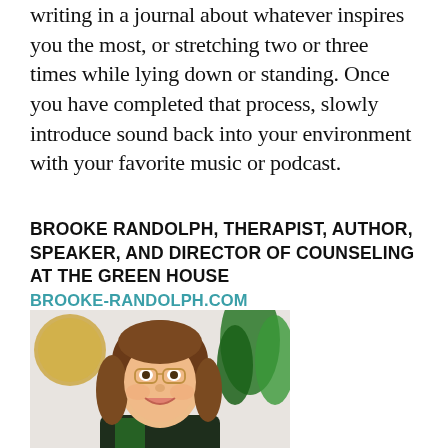writing in a journal about whatever inspires you the most, or stretching two or three times while lying down or standing. Once you have completed that process, slowly introduce sound back into your environment with your favorite music or podcast.
BROOKE RANDOLPH, THERAPIST, AUTHOR, SPEAKER, AND DIRECTOR OF COUNSELING AT THE GREEN HOUSE
BROOKE-RANDOLPH.COM
[Figure (photo): Portrait photo of Brooke Randolph, a woman with curly brown hair wearing glasses and a dark green blouse, smiling, with a gold circular mirror and green plant visible in the background.]